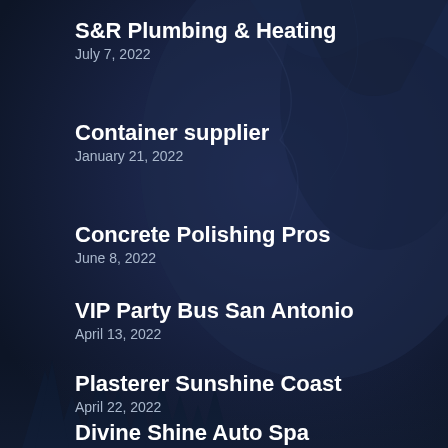S&R Plumbing & Heating
July 7, 2022
Container supplier
January 21, 2022
Concrete Polishing Pros
June 8, 2022
VIP Party Bus San Antonio
April 13, 2022
Plasterer Sunshine Coast
April 22, 2022
Divine Shine Auto Spa